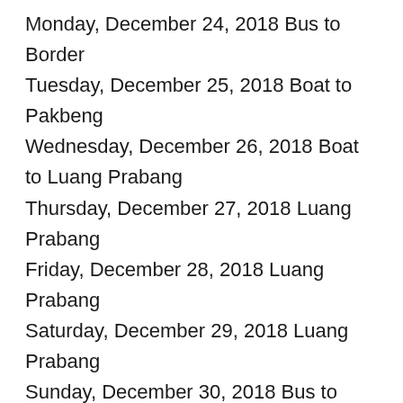Monday, December 24, 2018 Bus to Border
Tuesday, December 25, 2018 Boat to Pakbeng
Wednesday, December 26, 2018 Boat to Luang Prabang
Thursday, December 27, 2018 Luang Prabang
Friday, December 28, 2018 Luang Prabang
Saturday, December 29, 2018 Luang Prabang
Sunday, December 30, 2018 Bus to Vang Vieng
Monday, December 31, 2018 Vang Vieng
Tuesday, January 1, 2019 Bus to Vientiane
Wednesday, January 2, 2019 Vientiane
Thursday, January 3, 2019 Fly to Phnom Penh
Friday, January 4, 2019 Phnom Penh
Saturday, January 5, 2019 Phnom Penh
Sunday, January 6, 2019 Bus to Siem Reap
Monday, January 7, 2019 Siem Reap
Tuesday, January 8, 2019 Siem Reap
Wednesday, January 9, 2019 Bus to Bangkok